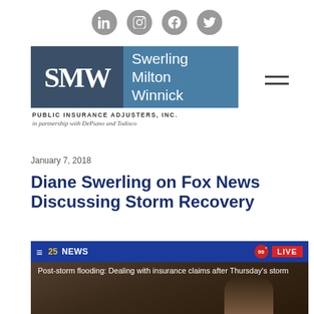[Figure (logo): Social media icons row: LinkedIn, Instagram, Facebook, Twitter (grey circles)]
[Figure (logo): SMW Swerling Milton Winnick Public Insurance Adjusters Inc. logo with tagline 'in partnership with DePiano and Todisco']
January 7, 2018
Diane Swerling on Fox News Discussing Storm Recovery
[Figure (screenshot): Screenshot of 25NEWS live broadcast showing 'Post-storm flooding: Dealing with insurance claims after Thursday's storm' with a woman being interviewed]